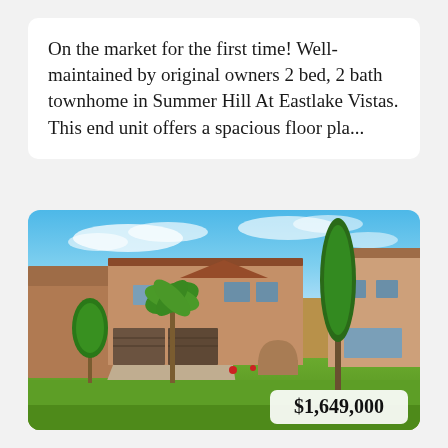On the market for the first time! Well-maintained by original owners 2 bed, 2 bath townhome in Summer Hill At Eastlake Vistas. This end unit offers a spacious floor pla...
[Figure (photo): Exterior photo of a Spanish-style townhome complex with stucco walls, tile roof, palm trees, cypress trees, green lawn, blue sky with clouds. A price tag overlay shows $1,649,000 in the bottom right corner.]